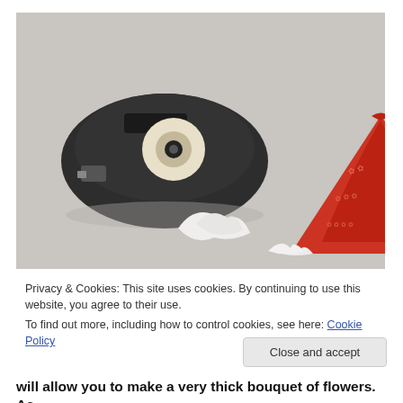[Figure (photo): A black tape dispenser with a roll of clear tape on the left, and a red decorative cone (patterned with light floral/plant designs) on the right, both on a light gray/white background.]
Privacy & Cookies: This site uses cookies. By continuing to use this website, you agree to their use.
To find out more, including how to control cookies, see here: Cookie Policy
Close and accept
will allow you to make a very thick bouquet of flowers. As